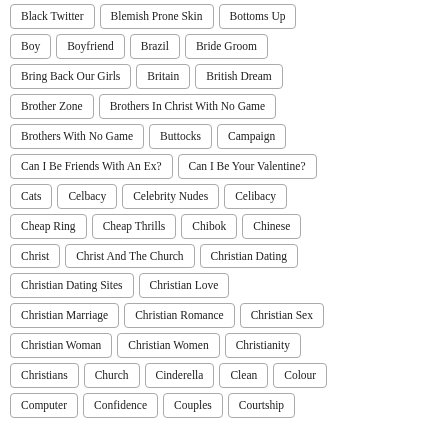Black Twitter
Blemish Prone Skin
Bottoms Up
Boy
Boyfriend
Brazil
Bride Groom
Bring Back Our Girls
Britain
British Dream
Brother Zone
Brothers In Christ With No Game
Brothers With No Game
Buttocks
Campaign
Can I Be Friends With An Ex?
Can I Be Your Valentine?
Cats
Celbacy
Celebrity Nudes
Celibacy
Cheap Ring
Cheap Thrills
Chibok
Chinese
Christ
Christ And The Church
Christian Dating
Christian Dating Sites
Christian Love
Christian Marriage
Christian Romance
Christian Sex
Christian Woman
Christian Women
Christianity
Christians
Church
Cinderella
Clean
Colour
Computer
Confidence
Couples
Courtship